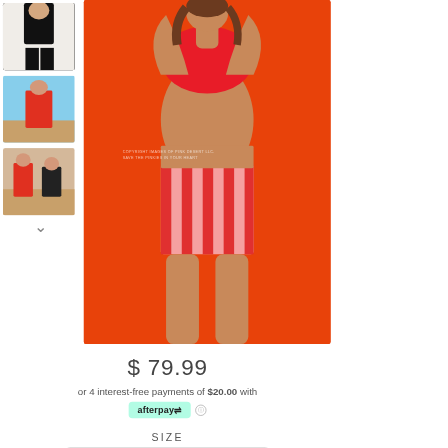[Figure (photo): Three thumbnail images on the left: top shows black/white swimsuit, middle shows model in red swimsuit outdoors, bottom shows two people in swimsuits outdoors. Main large image shows a model wearing a red top and red/pink striped high-waist bikini bottom against an orange background.]
$ 79.99
or 4 interest-free payments of $20.00 with afterpay ℹ
SIZE
X-Small
QUANTITY